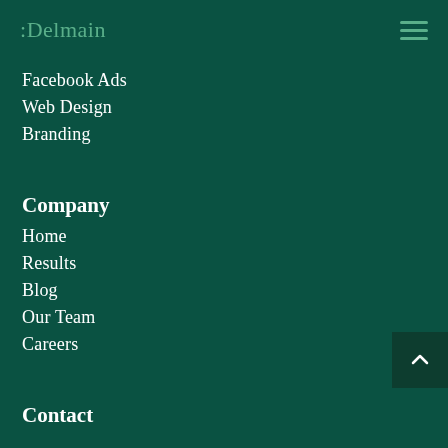:Delmain
Facebook Ads
Web Design
Branding
Company
Home
Results
Blog
Our Team
Careers
Contact